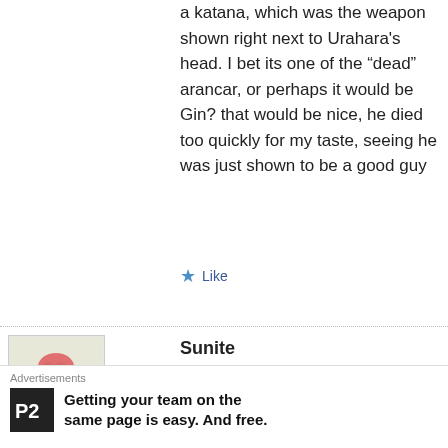a katana, which was the weapon shown right next to Urahara's head. I bet its one of the “dead” arancar, or perhaps it would be Gin? that would be nice, he died too quickly for my taste, seeing he was just shown to be a good guy
★ Like
Sunite
July 26, 2012 at 5:36 pm
Yeah thats correct but thats no reason for them to not hold a zanpakuto? The
Advertisements
Getting your team on the same page is easy. And free.